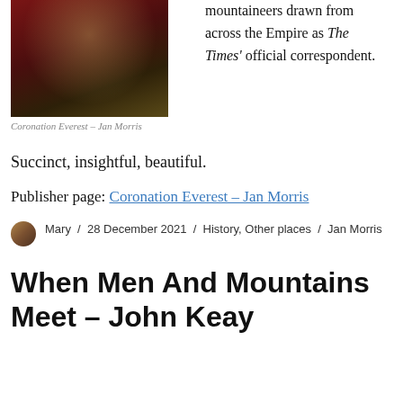[Figure (photo): Book cover of Coronation Everest by Jan Morris, showing a historical coronation scene illustration with red, green and dark tones]
Coronation Everest – Jan Morris
mountaineers drawn from across the Empire as The Times' official correspondent.
Succinct, insightful, beautiful.
Publisher page: Coronation Everest – Jan Morris
Mary / 28 December 2021 / History, Other places / Jan Morris
When Men And Mountains Meet – John Keay